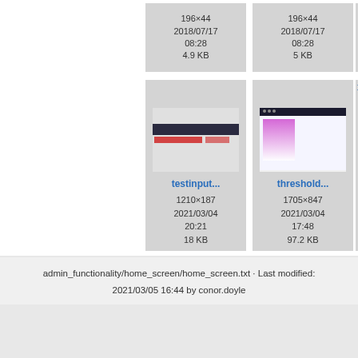[Figure (screenshot): Thumbnail card (top-left partial): 196×44, 2018/07/17 08:28, 4.9 KB]
[Figure (screenshot): Thumbnail card (top-center partial): 196×44, 2018/07/17 08:28, 5 KB]
[Figure (screenshot): Thumbnail card (top-right partial, clipped): partially visible]
[Figure (screenshot): testinput... screenshot thumbnail: 1210×187, 2021/03/04 20:21, 18 KB]
[Figure (screenshot): threshold... screenshot thumbnail: 1705×847, 2021/03/04 17:48, 97.2 KB]
[Figure (screenshot): xe... screenshot thumbnail: partially visible]
admin_functionality/home_screen/home_screen.txt · Last modified: 2021/03/05 16:44 by conor.doyle